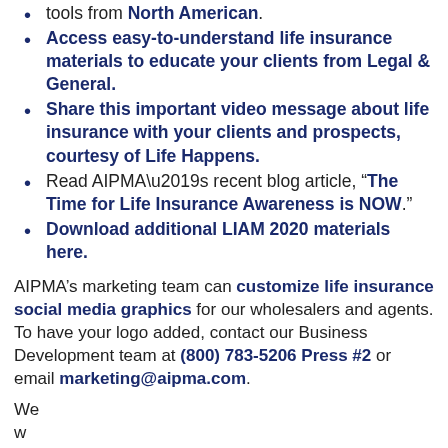tools from North American.
Access easy-to-understand life insurance materials to educate your clients from Legal & General.
Share this important video message about life insurance with your clients and prospects, courtesy of Life Happens.
Read AIPMA’s recent blog article, “The Time for Life Insurance Awareness is NOW.”
Download additional LIAM 2020 materials here.
AIPMA’s marketing team can customize life insurance social media graphics for our wholesalers and agents. To have your logo added, contact our Business Development team at (800) 783-5206 Press #2 or email marketing@aipma.com.
We w... conte... AIPMA on LinkedIn and Facebook to stay up-to-date.
[Figure (other): Green rounded button overlay: 'Learn How You Can Get Started with AIPMA! powered by Calendly']